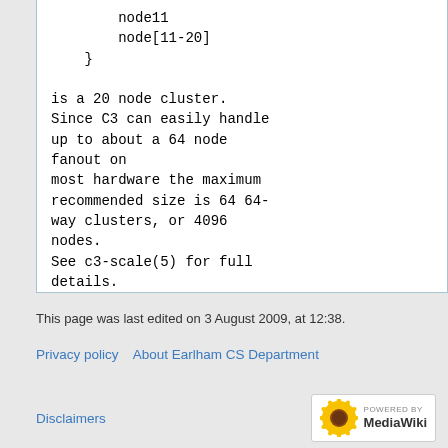node11
        node[11-20]
    }

is a 20 node cluster.
Since C3 can easily handle up to about a 64 node fanout on
most hardware the maximum recommended size is 64 64-way clusters, or 4096 nodes.
See c3-scale(5) for full details.
This page was last edited on 3 August 2009, at 12:38.
Privacy policy   About Earlham CS Department
Disclaimers